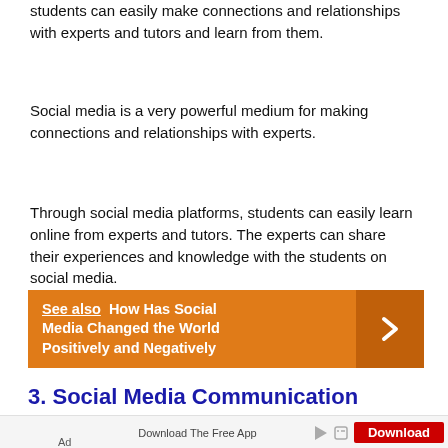students can easily make connections and relationships with experts and tutors and learn from them.
Social media is a very powerful medium for making connections and relationships with experts.
Through social media platforms, students can easily learn online from experts and tutors. The experts can share their experiences and knowledge with the students on social media.
[Figure (infographic): Orange banner with 'See also How Has Social Media Changed the World Positively and Negatively' text and a right-arrow chevron on a darker orange background]
3. Social Media Communication
[Figure (infographic): Advertisement bar: 'Download The Free App' with a red Download button and ad icons]